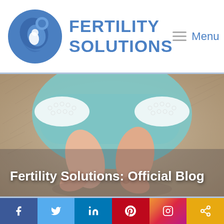FERTILITY SOLUTIONS  Menu
[Figure (photo): Close-up photo of a baby's feet and legs wearing a teal/mint knit outfit with white lace trim, resting on a soft furry surface]
Fertility Solutions: Official Blog
Fertility Solution's December Patient
[Figure (other): Social media share bar with Facebook, Twitter, LinkedIn, Pinterest, Instagram, and share link buttons]